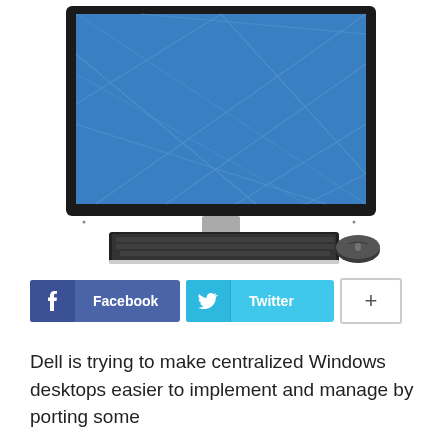[Figure (photo): Dell all-in-one desktop computer with wireless keyboard and mouse on a white background. The monitor has a blue screen with diamond pattern, silver stand, and Dell logo on the bezel.]
[Figure (infographic): Social sharing buttons: Facebook (dark blue with f icon), Twitter (light blue with bird icon), and a plus (+) button with grey border.]
Dell is trying to make centralized Windows desktops easier to implement and manage by porting some